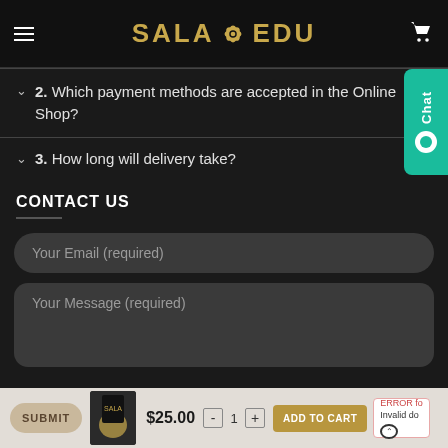SALA EDU
2. Which payment methods are accepted in the Online Shop?
3. How long will delivery take?
CONTACT US
Your Email (required)
Your Message (required)
SUBMIT
$25.00
ADD TO CART
ERROR for invalid do...